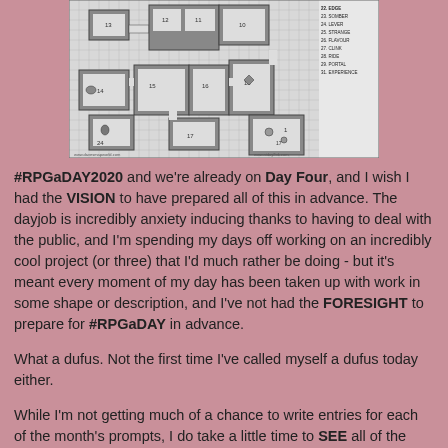[Figure (map): A black and white dungeon/RPG map with numbered rooms and a legend on the right side listing various room features.]
#RPGaDAY2020 and we're already on Day Four, and I wish I had the VISION to have prepared all of this in advance. The dayjob is incredibly anxiety inducing thanks to having to deal with the public, and I'm spending my days off working on an incredibly cool project (or three) that I'd much rather be doing - but it's meant every moment of my day has been taken up with work in some shape or description, and I've not had the FORESIGHT to prepare for #RPGaDAY in advance.
What a dufus. Not the first time I've called myself a dufus today either.
While I'm not getting much of a chance to write entries for each of the month's prompts, I do take a little time to SEE all of the cool posts that have already been circulating the internet with regard to #RPGaDAY, and loving everyone's unique interpretations of the prompts. The...